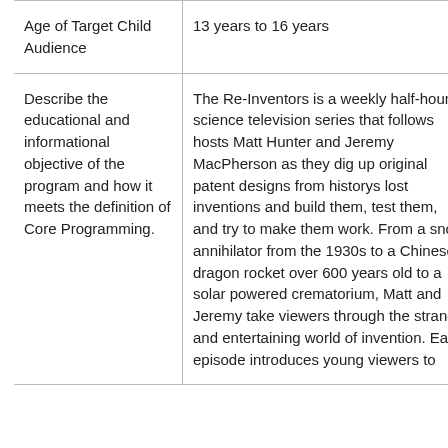| Age of Target Child Audience | 13 years to 16 years |
| Describe the educational and informational objective of the program and how it meets the definition of Core Programming. | The Re-Inventors is a weekly half-hour science television series that follows hosts Matt Hunter and Jeremy MacPherson as they dig up original patent designs from historys lost inventions and build them, test them, and try to make them work. From a snow annihilator from the 1930s to a Chinese dragon rocket over 600 years old to a solar powered crematorium, Matt and Jeremy take viewers through the strange and entertaining world of invention. Each episode introduces young viewers to |